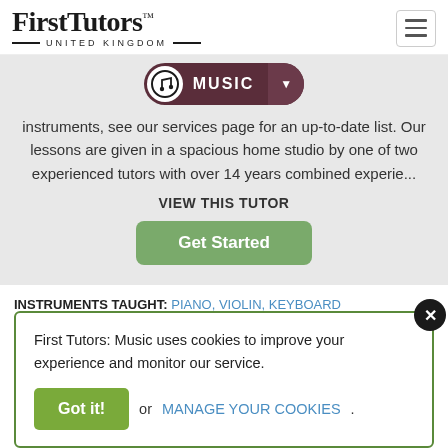[Figure (logo): First Tutors United Kingdom logo with serif text and hamburger menu icon]
[Figure (infographic): Music category navigation pill with music note icon, MUSIC label, and dropdown arrow]
instruments, see our services page for an up-to-date list. Our lessons are given in a spacious home studio by one of two experienced tutors with over 14 years combined experie...
VIEW THIS TUTOR
Get Started
INSTRUMENTS TAUGHT: PIANO, VIOLIN, KEYBOARD
[Figure (infographic): Five gold star rating icons followed by partial review text 'Reinfordie feedback about DAN']
First Tutors: Music uses cookies to improve your experience and monitor our service.
Got it! or MANAGE YOUR COOKIES.